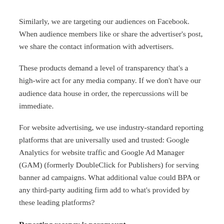Similarly, we are targeting our audiences on Facebook. When audience members like or share the advertiser's post, we share the contact information with advertisers.
These products demand a level of transparency that's a high-wire act for any media company. If we don't have our audience data house in order, the repercussions will be immediate.
For website advertising, we use industry-standard reporting platforms that are universally used and trusted: Google Analytics for website traffic and Google Ad Manager (GAM) (formerly DoubleClick for Publishers) for serving banner ad campaigns. What additional value could BPA or any third-party auditing firm add to what's provided by these leading platforms?
Reporting recency is paramount.
In 2017, we launched our Zigma audience dashboard, displaying multi-channel metrics for each of our brands, with audience